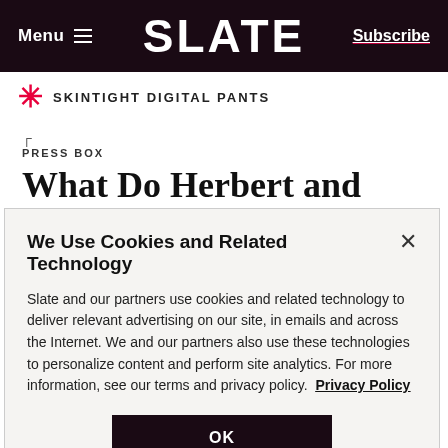Menu  SLATE  Subscribe
SKINTIGHT DIGITAL PANTS
PRESS BOX
What Do Herbert and Marion Sandler Want?
We Use Cookies and Related Technology
Slate and our partners use cookies and related technology to deliver relevant advertising on our site, in emails and across the Internet. We and our partners also use these technologies to personalize content and perform site analytics. For more information, see our terms and privacy policy.  Privacy Policy
OK